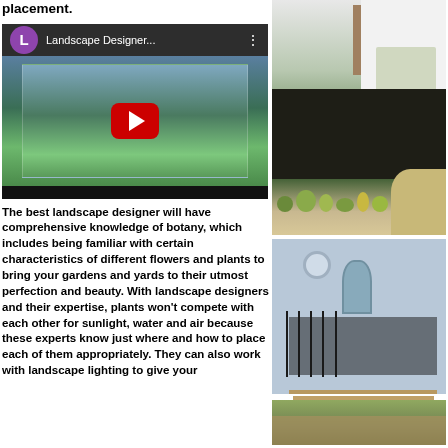placement.
[Figure (screenshot): YouTube video thumbnail showing 'Landscape Designer...' with a play button, purple avatar with L, and a landscape preview image]
[Figure (photo): Photo of a white house with landscaped garden bed featuring dark mulch, green shrubs, and a curved stone paver path]
The best landscape designer will have comprehensive knowledge of botany, which includes being familiar with certain characteristics of different flowers and plants to bring your gardens and yards to their utmost perfection and beauty. With landscape designers and their expertise, plants won't compete with each other for sunlight, water and air because these experts know just where and how to place each of them appropriately. They can also work with landscape lighting to give your
[Figure (photo): Photo of a light blue house with ornate iron railing steps, round window accent, and brick/stone paving in foreground]